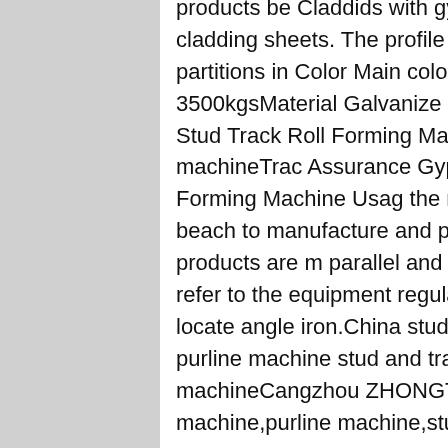products be Claddids with gypsum board or other types of cladding sheets. The profile especially designed for internal partitions in Color Main color blueWeight About 3500kgsMaterial Galvanize CoilsGypsum Drywall Metal Stud Track Roll Forming Machine stud track gypsum frame machineTrac Assurance Gypsum Drywall Meta Track Roll Forming Machine Usag the raw material (steel plate) thro beach to manufacture and proce guarantee that the products are m parallel and everything is uniformity. Please refer to the equipment regulation to know the function of locate angle iron.China stud and track rolling machine, purline machine stud and track gypsum frame machineCangzhou ZHONGTUO roll forming machine,purline machine,stud
[Figure (other): Advertisement overlay with '7X24 Online' header in gold and white on dark blue background, a photo of a smiling customer service woman with headset, and a 'Hello, may I help you?' message with a 'Get Latest Price' yellow button.]